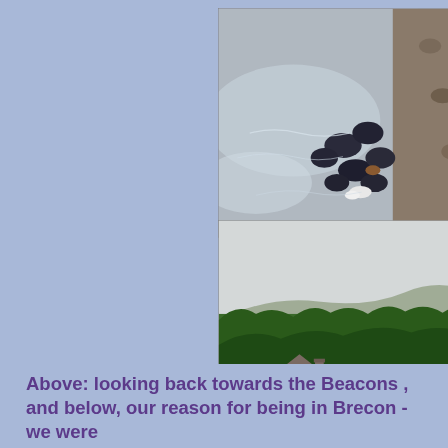[Figure (photo): Close-up photo of birds (pigeons/ducks) at the edge of a rocky riverbank or shoreline, with water lapping at the stones and dark birds clustered together near the waterline.]
[Figure (photo): Landscape photo looking back towards the Brecon Beacons, showing a Welsh town (Brecon) in the foreground with houses, trees, and distant hills/mountains under an overcast sky.]
Above: looking back towards the Beacons , and below, our reason for being in Brecon - we were